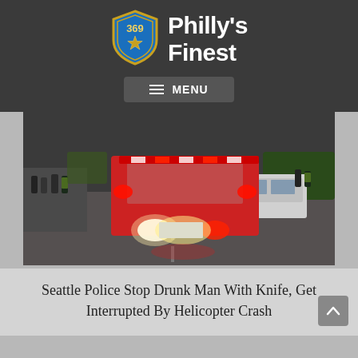Philly's Finest
[Figure (logo): Philly's Finest website logo with badge shield numbered 369 with a gold star, and white bold text reading Philly's Finest]
[Figure (photo): Dashcam view of an ambulance or fire truck with bright red flashing lights driving down a street, with a white SUV in the right lane and bystanders on the left sidewalk]
Seattle Police Stop Drunk Man With Knife, Get Interrupted By Helicopter Crash